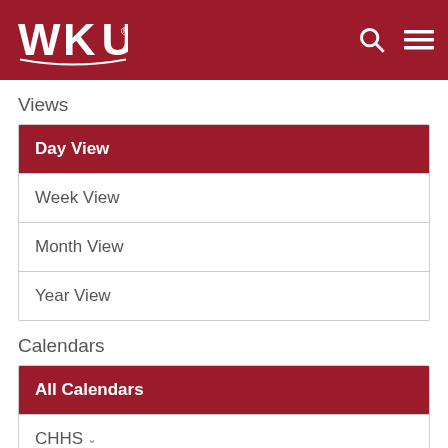WKU
Views
Day View
Week View
Month View
Year View
Calendars
All Calendars
CHHS
WKU Events